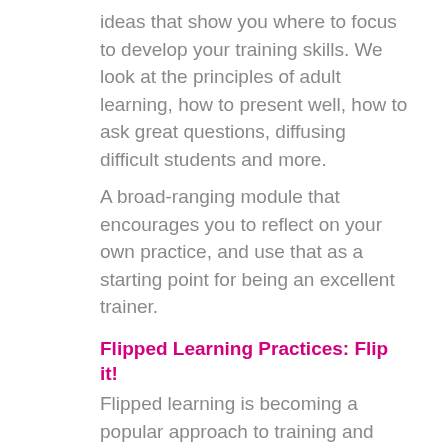ideas that show you where to focus to develop your training skills. We look at the principles of adult learning, how to present well, how to ask great questions, diffusing difficult students and more. A broad-ranging module that encourages you to reflect on your own practice, and use that as a starting point for being an excellent trainer.
Flipped Learning Practices: Flip it!
Flipped learning is becoming a popular approach to training and assessment across the globe. This module looks at what flipped learning is, the advantages of using it, and how to start using a flipped learning approach in your training practice.